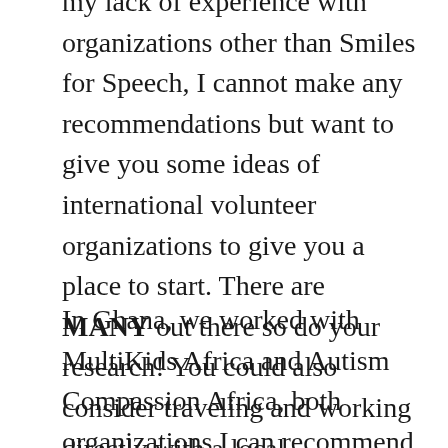my lack of experience with organizations other than Smiles for Speech, I cannot make any recommendations but want to give you some ideas of international volunteer organizations to give you a place to start. There are MANY out there so do your research! You could also consider traveling and working directly with a local organization instead of going with a larger SLP group.
In Ghana, we worked with MultiKids Africa and Autism Compassion Africa, both organizations I can recommend that you could try to reach out to if you were interested in